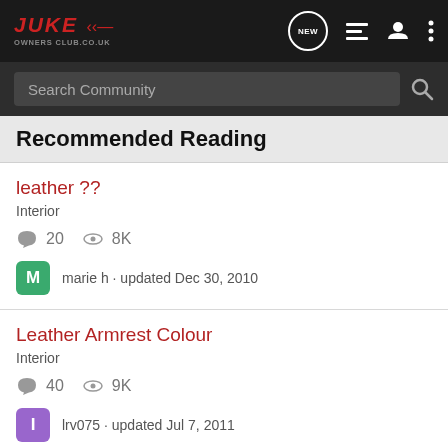Juke Owners Club - Navigation bar with search
Recommended Reading
leather ?? | Interior | 20 comments | 8K views | marie h · updated Dec 30, 2010
Leather Armrest Colour | Interior | 40 comments | 9K views | lrv075 · updated Jul 7, 2011